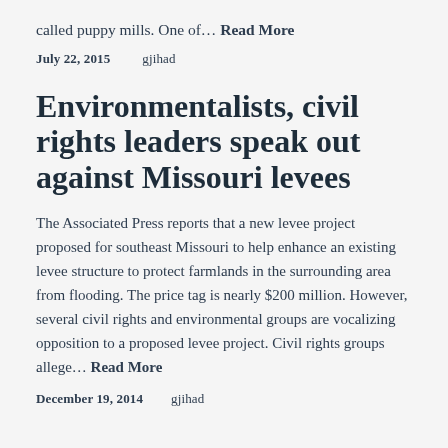called puppy mills. One of… Read More
July 22, 2015    gjihad
Environmentalists, civil rights leaders speak out against Missouri levees
The Associated Press reports that a new levee project proposed for southeast Missouri to help enhance an existing levee structure to protect farmlands in the surrounding area from flooding. The price tag is nearly $200 million. However, several civil rights and environmental groups are vocalizing opposition to a proposed levee project. Civil rights groups allege… Read More
December 19, 2014    gjihad